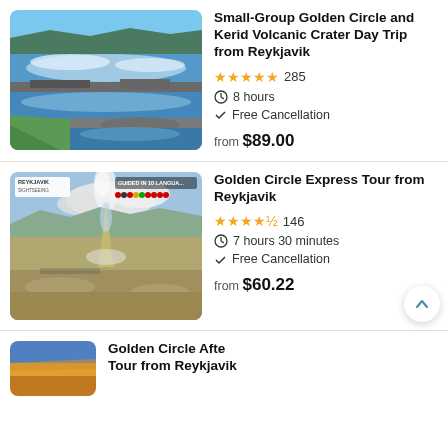[Figure (photo): Waterfall (Gullfoss) with green hillside and rushing water, blue sky]
Small-Group Golden Circle and Kerid Volcanic Crater Day Trip from Reykjavik
★★★★★ 285
⏱ 8 hours
✓ Free Cancellation
from $89.00
[Figure (photo): Geyser erupting with steam, Reykjavik Sightseeing banner, guided in 10 languages badge with flag icons]
Golden Circle Express Tour from Reykjavik
★★★★½ 146
⏱ 7 hours 30 minutes
✓ Free Cancellation
from $60.22
[Figure (photo): Sunset landscape, partial view, golden and blue sky]
Golden Circle Afternoon Tour from Reykjavik